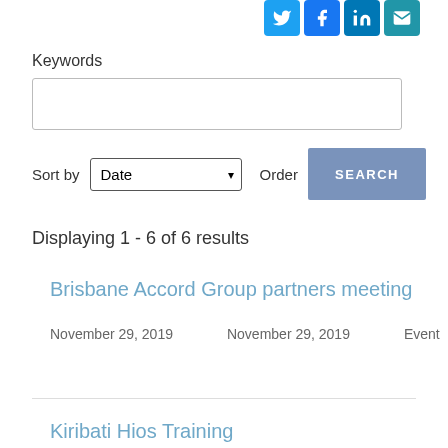[Figure (illustration): Social media share icons: Twitter (blue bird), Facebook (blue f), LinkedIn (blue in), Email (teal envelope)]
Keywords
Sort by Date  Order Desc
SEARCH
Displaying 1 - 6 of 6 results
Brisbane Accord Group partners meeting
November 29, 2019    November 29, 2019    Event
Kiribati Hios Training